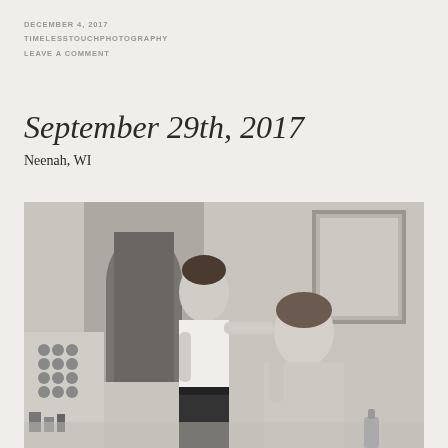DECEMBER 4, 2017
TIMELESSTOUCHPHOTOGRAPHY
LEAVE A COMMENT
September 29th, 2017
Neenah, WI
[Figure (photo): Black and white photograph of a makeup artist applying makeup to a woman seated in a chair. The makeup artist is standing and leaning in with a brush. A makeup display stand with many circular palettes is visible on the left side.]